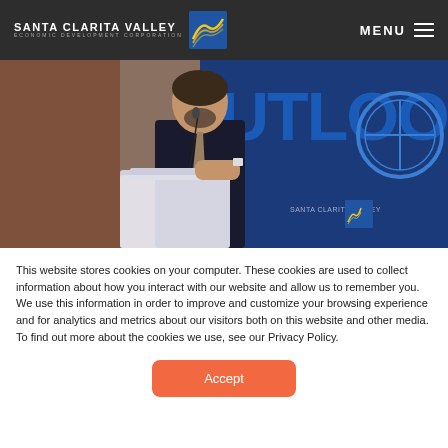SANTA CLARITA VALLEY ECONOMIC DEVELOPMENT CORPORATION | MENU
[Figure (photo): Man in dark suit speaking at a podium with microphone at an event with 'OUTLOOK' text and Santa Clarita Valley EDC branding visible in background]
This website stores cookies on your computer. These cookies are used to collect information about how you interact with our website and allow us to remember you. We use this information in order to improve and customize your browsing experience and for analytics and metrics about our visitors both on this website and other media. To find out more about the cookies we use, see our Privacy Policy.
Accept